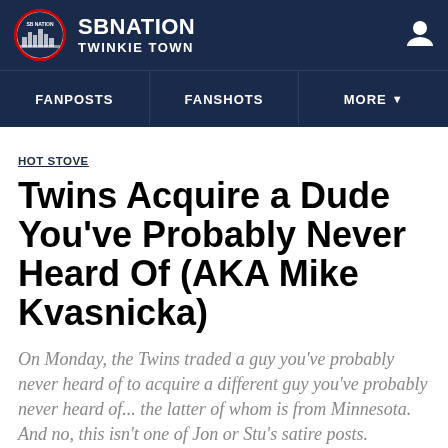SB NATION TWINKIE TOWN
FANPOSTS | FANSHOTS | MORE
HOT STOVE
Twins Acquire a Dude You've Probably Never Heard Of (AKA Mike Kvasnicka)
On Monday, the Twins traded a guy you've probably never heard of to acquire a different guy you've probably never heard of... the latter of whom is from Minnesota. And no, this isn't one of Jon or Stu's satire posts.